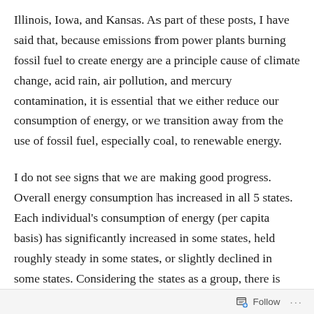Illinois, Iowa, and Kansas. As part of these posts, I have said that, because emissions from power plants burning fossil fuel to create energy are a principle cause of climate change, acid rain, air pollution, and mercury contamination, it is essential that we either reduce our consumption of energy, or we transition away from the use of fossil fuel, especially coal, to renewable energy.
I do not see signs that we are making good progress. Overall energy consumption has increased in all 5 states. Each individual's consumption of energy (per capita basis) has significantly increased in some states, held roughly steady in some states, or slightly declined in some states. Considering the states as a group, there is NO strong trend towards decreasing per capita energy consumption!
Follow ···